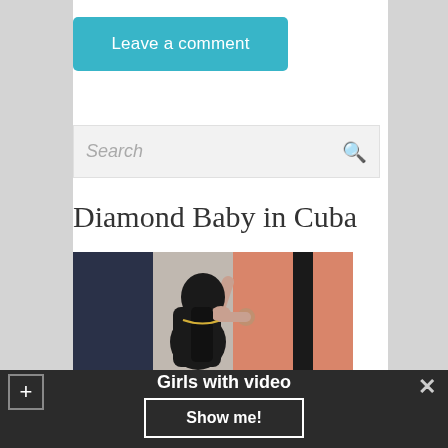Leave a comment
Search
Diamond Baby in Cuba
[Figure (photo): A woman in a black corset dress posing near colorful curtains]
Girls with video
Show me!